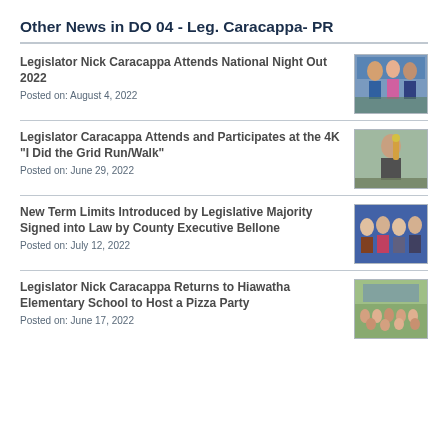Other News in DO 04 - Leg. Caracappa- PR
Legislator Nick Caracappa Attends National Night Out 2022
Posted on: August 4, 2022
[Figure (photo): Group photo at National Night Out 2022 event with blue tent in background]
Legislator Caracappa Attends and Participates at the 4K "I Did the Grid Run/Walk"
Posted on: June 29, 2022
[Figure (photo): Person holding a trophy or award at a running event]
New Term Limits Introduced by Legislative Majority Signed into Law by County Executive Bellone
Posted on: July 12, 2022
[Figure (photo): Group of officials standing in front of blue curtain backdrop]
Legislator Nick Caracappa Returns to Hiawatha Elementary School to Host a Pizza Party
Posted on: June 17, 2022
[Figure (photo): Large group photo outdoors at elementary school]